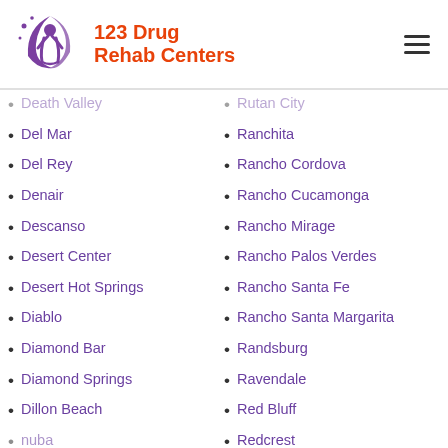[Figure (logo): 123 Drug Rehab Centers logo with purple figure and orange text]
Death Valley
Rutan City
Del Mar
Ranchita
Del Rey
Rancho Cordova
Denair
Rancho Cucamonga
Descanso
Rancho Mirage
Desert Center
Rancho Palos Verdes
Desert Hot Springs
Rancho Santa Fe
Diablo
Rancho Santa Margarita
Diamond Bar
Randsburg
Diamond Springs
Ravendale
Dillon Beach
Red Bluff
Duba
Redcrest
Discovery Bay
Redlands
Dobbins